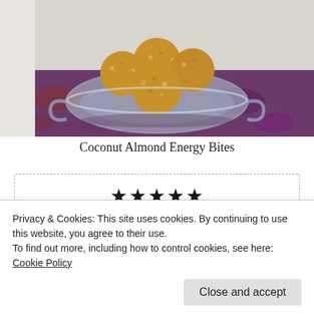[Figure (photo): A glass bowl filled with coconut almond energy bites (round oat and nut balls) sitting on a purple and red patterned cloth/mat against a light background.]
Coconut Almond Energy Bites
★★★★★ 5 from 1 vote
Privacy & Cookies: This site uses cookies. By continuing to use this website, you agree to their use.
To find out more, including how to control cookies, see here: Cookie Policy
Close and accept